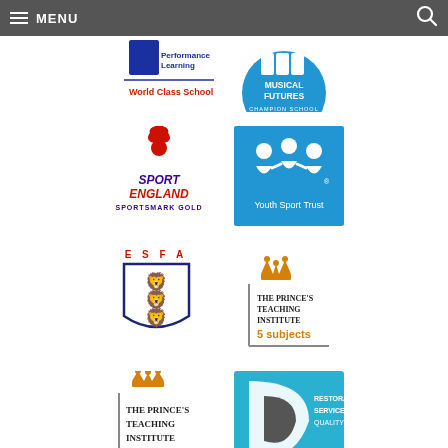MENU
[Figure (logo): Performance Learning World Class School logo (partial)]
[Figure (logo): Musical Futures Champion School logo (partial, blue circular badge)]
[Figure (logo): Sport England Sportsmark Gold logo with red flower/person icon]
[Figure (logo): Youth Sport Trust logo - blue square with white figures and text]
[Figure (logo): ESFA England Schools Football Association logo with three lions shield]
[Figure (logo): The Prince's Teaching Institute 5 subjects logo with crown]
[Figure (logo): The Prince's Teaching Institute logo (partial, bottom)]
[Figure (logo): Restorative Service Quality logo (partial, blue/grey, bottom right)]